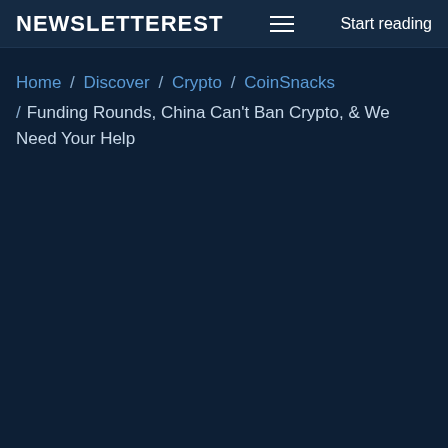NEWSLETTEREST  Start reading
Home / Discover / Crypto / CoinSnacks / Funding Rounds, China Can't Ban Crypto, & We Need Your Help